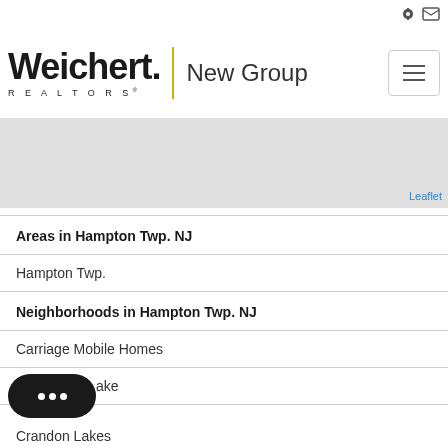[Figure (logo): Weichert REALTORS New Group logo with yellow vertical divider]
[Figure (map): Gray map area with Leaflet attribution link]
Areas in Hampton Twp. NJ
Hampton Twp.
Neighborhoods in Hampton Twp. NJ
Carriage Mobile Homes
...ake
Crandon Lakes